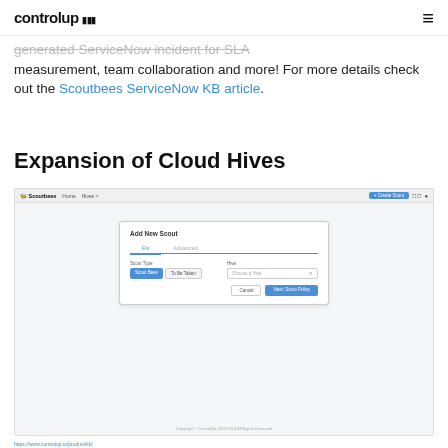ControlUp logo and navigation
generated ServiceNow incident for SLA measurement, team collaboration and more! For more details check out the Scoutbees ServiceNow KB article.
Expansion of Cloud Hives
[Figure (screenshot): Screenshot of Scoutbees application showing 'Add New Scout' dialog with Scout Type selector and Hive dropdown, with Cancel and Next Scout Policy buttons]
https://www.controlup.io/product/kb/